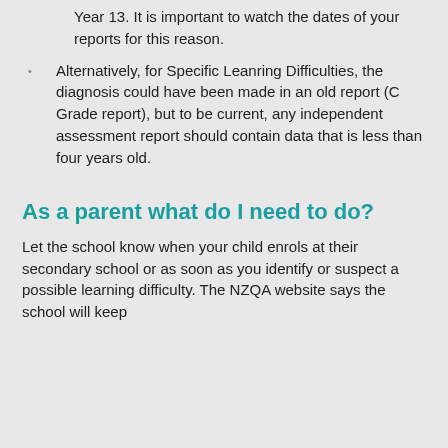Year 13. It is important to watch the dates of your reports for this reason.
Alternatively, for Specific Leanring Difficulties, the diagnosis could have been made in an old report (C Grade report), but to be current, any independent assessment report should contain data that is less than four years old.
As a parent what do I need to do?
Let the school know when your child enrols at their secondary school or as soon as you identify or suspect a possible learning difficulty. The NZQA website says the school will keep